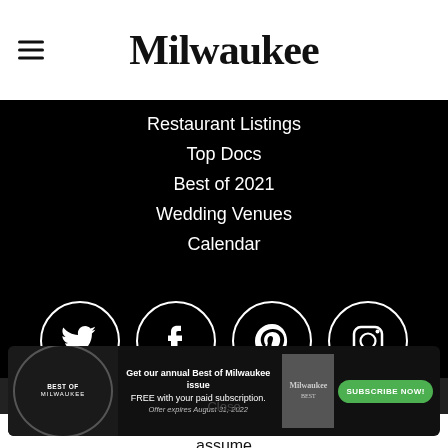Milwaukee
Restaurant Listings
Top Docs
Best of 2021
Wedding Venues
Calendar
[Figure (illustration): Social media icons in white circles on black background: Twitter, Facebook, Pinterest, Instagram]
SUBSCRIBE TODAY!
Close
This website uses cookies to improve your experience. We'll assume
[Figure (infographic): Best of Milwaukee subscription advertisement banner: Get our annual Best of Milwaukee issue FREE with your paid subscription. Offer expires August 31, 2022. Subscribe Now button.]